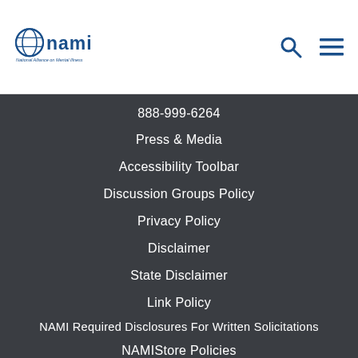NAMI - National Alliance on Mental Illness
888-999-6264
Press & Media
Accessibility Toolbar
Discussion Groups Policy
Privacy Policy
Disclaimer
State Disclaimer
Link Policy
NAMI Required Disclosures For Written Solicitations
NAMIStore Policies